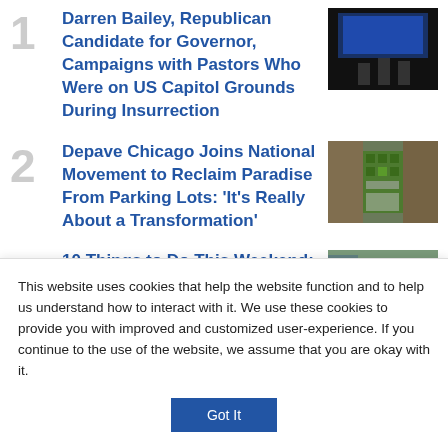1 Darren Bailey, Republican Candidate for Governor, Campaigns with Pastors Who Were on US Capitol Grounds During Insurrection
[Figure (photo): Dark photo of people on a stage with blue screen backdrop]
2 Depave Chicago Joins National Movement to Reclaim Paradise From Parking Lots: 'It's Really About a Transformation'
[Figure (photo): Aerial view of a green garden/park area between buildings]
3 10 Things to Do This Weekend:
[Figure (photo): Street scene with person in red shirt]
This website uses cookies that help the website function and to help us understand how to interact with it. We use these cookies to provide you with improved and customized user-experience. If you continue to the use of the website, we assume that you are okay with it.
Got It